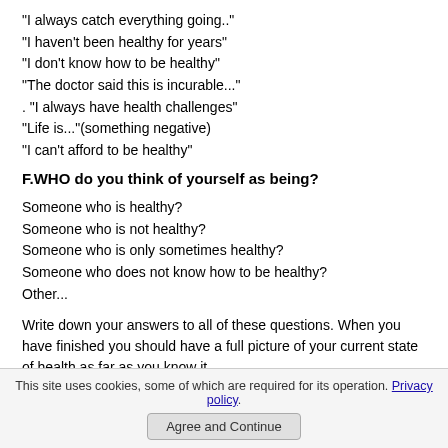"I always catch everything going.."
"I haven't been healthy for years"
"I don't know how to be healthy"
"The doctor said this is incurable..."
. "I always have health challenges"
"Life is..."(something negative)
"I can't afford to be healthy"
F.WHO do you think of yourself as being?
Someone who is healthy?
Someone who is not healthy?
Someone who is only sometimes healthy?
Someone who does not know how to be healthy?
Other...
Write down your answers to all of these questions. When you have finished you should have a full picture of your current state of health as far as you know it.
Congratulations-well done! You have come a long way.You have identified the unique signs of your own physical and emotional health.
This site uses cookies, some of which are required for its operation. Privacy policy. Agree and Continue